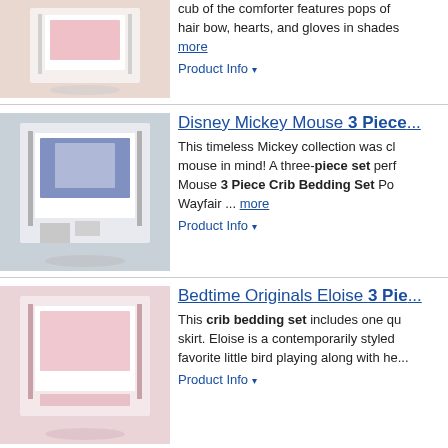[Figure (photo): Pink crib bedding set on a white crib]
cub of the comforter features pops of hair bow, hearts, and gloves in shades more
Product Info ▾
[Figure (photo): Mickey Mouse 3 piece crib bedding set displayed on a white crib with grey/blue theme]
Disney Mickey Mouse 3 Piece...
This timeless Mickey collection was classic mouse in mind! A three-piece set perfect Mouse 3 Piece Crib Bedding Set Pottery Wayfair ... more
Product Info ▾
[Figure (photo): Eloise pink crib bedding set on white crib]
Bedtime Originals Eloise 3 Pie...
This crib bedding set includes one quilt skirt. Eloise is a contemporarily styled favorite little bird playing along with he...
Product Info ▾
[Figure (photo): Disney Winnie the Pooh Hello sunshine crib bedding set]
Disney Winnie the Pooh Hello ...
Hello sunshine! The Disney Winnie the Bedding Set features a bright and cheerful Piglet too, floating with clouds under a rainbow. ... more
Product Info ▾
[Figure (photo): Koala Baby Springtime Slumber crib bedding set]
Koala Baby Springtime Slumbe...
Features:Includes a 1 quilt, 1 fitted crib blanketThis set is decorated in a white yellow and turquoise soft, padded quilt...